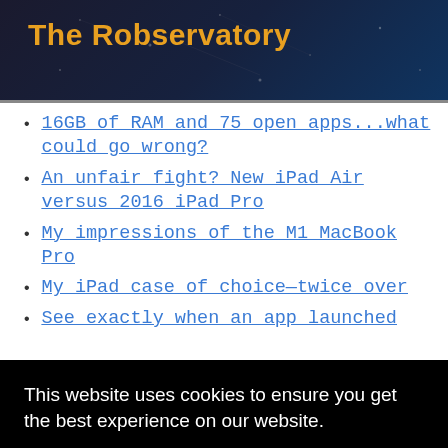The Robservatory
16GB of RAM and 75 open apps…what could go wrong?
An unfair fight? New iPad Air versus 2016 iPad Pro
My impressions of the M1 MacBook Pro
My iPad case of choice—twice over
See exactly when an app launched
This website uses cookies to ensure you get the best experience on our website. Learn more
Got it!
been neutral (not strongly opposed) to the